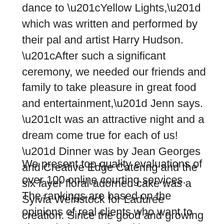dance to “Yellow Lights,” which was written and performed by their pal and artist Harry Hudson. “After such a significant ceremony, we needed our friends and family to take pleasure in great food and entertainment,” Jenn says. “It was an attractive night and a dream come true for each of us! ” Dinner was by Jean Georges and Creative Edge Catering and the six layer floral-adorned cake was a Sylvia Weinstock for Ladurée creation. Since the good and growing modern metropolis stands immediately over the ancient one, it is almost impossible to find any considerable space during which to dig, except at huge price.
We present top quality evaluations of over 100 online courting services. The rankings are based on the opinions of real clients who want to share their expertise with us. Some Egyptian proof might suggest that this was or had been true in Egypt, as nicely. For event, a person could give a gift to his